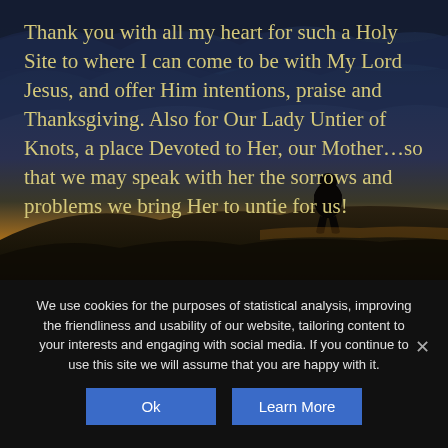[Figure (photo): Dark moody background photo showing a dramatic sunset sky with clouds and a silhouette of a person standing on a hilltop or cliff. The sky transitions from dark blue/grey clouds at top to warm orange/golden tones near the horizon.]
Thank you with all my heart for such a Holy Site to where I can come to be with My Lord Jesus, and offer Him intentions, praise and Thanksgiving. Also for Our Lady Untier of Knots, a place Devoted to Her, our Mother…so that we may speak with her the sorrows and problems we bring Her to untie for us!
We use cookies for the purposes of statistical analysis, improving the friendliness and usability of our website, tailoring content to your interests and engaging with social media. If you continue to use this site we will assume that you are happy with it.